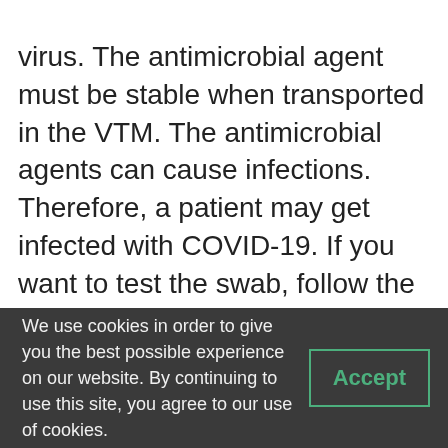virus. The antimicrobial agent must be stable when transported in the VTM. The antimicrobial agents can cause infections. Therefore, a patient may get infected with COVID-19. If you want to test the swab, follow the manufacturer's instructions. If you do not know what VTM means, you can email the FDA. They will acknowledge receipt of the email.
We use cookies in order to give you the best possible experience on our website. By continuing to use this site, you agree to our use of cookies. Accept